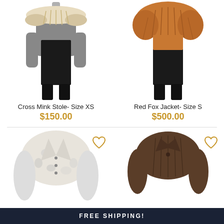[Figure (photo): Mannequin wearing cream/beige cross mink stole on black dress, upper half visible]
Cross Mink Stole- Size XS
$150.00
[Figure (photo): Mannequin wearing red fox fur jacket, upper half visible]
Red Fox Jacket- Size S
$500.00
[Figure (photo): Mannequin wearing white/cream fox fur coat with lapels, heart/wishlist icon overlay]
[Figure (photo): Mannequin wearing dark brown mink jacket, heart/wishlist icon overlay]
FREE SHIPPING!